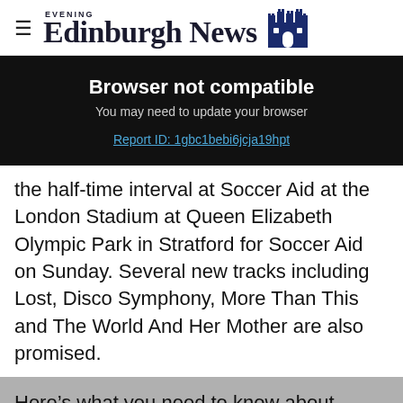Edinburgh Evening News
Browser not compatible
You may need to update your browser
Report ID: 1gbc1bebi6jcja19hpt
the half-time interval at Soccer Aid at the London Stadium at Queen Elizabeth Olympic Park in Stratford for Soccer Aid on Sunday. Several new tracks including Lost, Disco Symphony, More Than This and The World And Her Mother are also promised.
Here’s what you need to know about Robbie’s upcoming UK and Ireland Tour in 2022.